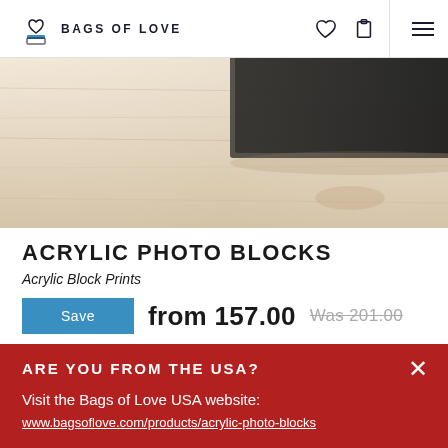BAGS OF LOVE
[Figure (photo): Close-up photo of an acrylic photo block on a light wooden surface, showing a dark framed image partially visible at the top]
ACRYLIC PHOTO BLOCKS
Acrylic Block Prints
Save  from 157.00  Was 201.00
ARE YOU FROM THE USA?
Visit the Bags of Love USA website:
www.bagsoflove.com/products/acrylic-photo-blocks